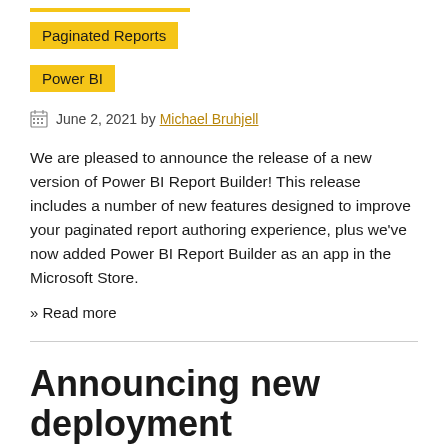Paginated Reports
Power BI
June 2, 2021 by Michael Bruhjell
We are pleased to announce the release of a new version of Power BI Report Builder! This release includes a number of new features designed to improve your paginated report authoring experience, plus we've now added Power BI Report Builder as an app in the Microsoft Store.
» Read more
Announcing new deployment